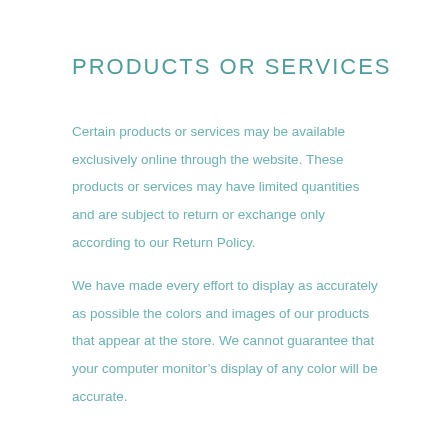PRODUCTS OR SERVICES
Certain products or services may be available exclusively online through the website. These products or services may have limited quantities and are subject to return or exchange only according to our Return Policy.
We have made every effort to display as accurately as possible the colors and images of our products that appear at the store. We cannot guarantee that your computer monitor’s display of any color will be accurate.